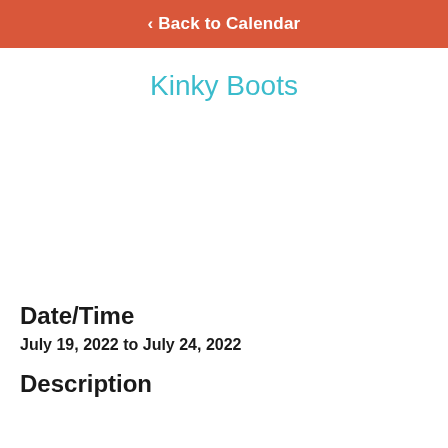‹ Back to Calendar
Kinky Boots
Date/Time
July 19, 2022 to July 24, 2022
Description